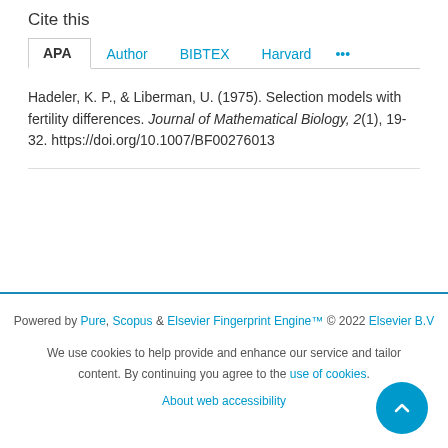Cite this
APA  Author  BIBTEX  Harvard  ...
Hadeler, K. P., & Liberman, U. (1975). Selection models with fertility differences. Journal of Mathematical Biology, 2(1), 19-32. https://doi.org/10.1007/BF00276013
Powered by Pure, Scopus & Elsevier Fingerprint Engine™ © 2022 Elsevier B.V
We use cookies to help provide and enhance our service and tailor content. By continuing you agree to the use of cookies
About web accessibility